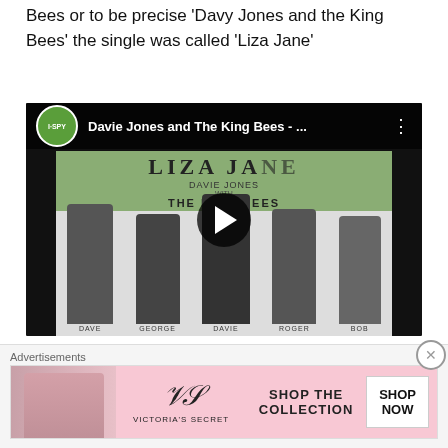Bees or to be precise 'Davy Jones and the King Bees' the single was called 'Liza Jane'
[Figure (screenshot): YouTube video embed showing 'Davie Jones and The King Bees - ...' with I-SPY channel logo, play button overlay, and band photo from 'Liza Jane' record cover showing five band members labeled Dave, George, Davie, Roger, Bob with 'THE KING-BEES' text]
The fact there was already another Davy Jones who was the lead singer with the Monkees, to avoid confusion
Advertisements
[Figure (other): Victoria's Secret advertisement banner with model photo, VS logo, 'SHOP THE COLLECTION' text and 'SHOP NOW' button]